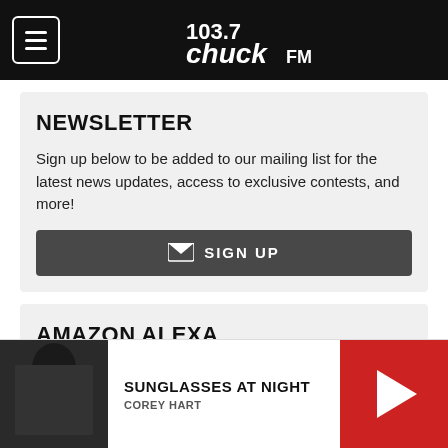103.7 Chuck FM
NEWSLETTER
Sign up below to be added to our mailing list for the latest news updates, access to exclusive contests, and more!
SIGN UP
AMAZON ALEXA
Enable our Skill today to listen live at home on your Alexa Devices!
[Figure (logo): Amazon Alexa logo with circular icon and text 'JUST ASK amazon alexa']
SUNGLASSES AT NIGHT
COREY HART